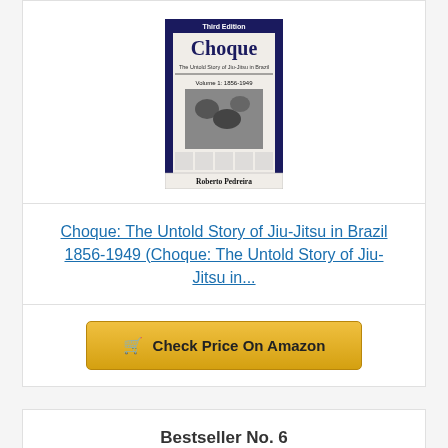[Figure (photo): Book cover of 'Choque: The Untold Story of Jiu-Jitsu in Brazil, Volume 1: 1856-1949' by Roberto Pedreira. Newspaper-style layout with large title and wrestling photo.]
Choque: The Untold Story of Jiu-Jitsu in Brazil 1856-1949 (Choque: The Untold Story of Jiu-Jitsu in...
Check Price On Amazon
Bestseller No. 6
[Figure (photo): Partial book cover showing white bold text 'FIGHT' on black background.]